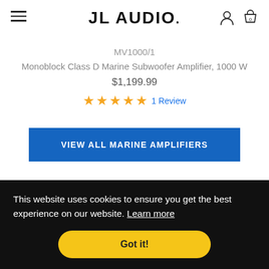JL AUDIO.
MV1000/1
Monoblock Class D Marine Subwoofer Amplifier, 1000 W
$1,199.99
★★★★★ 1 Review
VIEW ALL MARINE AMPLIFIERS
This website uses cookies to ensure you get the best experience on our website. Learn more
Got it!